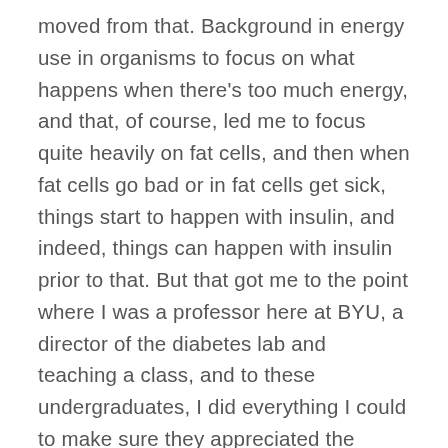moved from that. Background in energy use in organisms to focus on what happens when there's too much energy, and that, of course, led me to focus quite heavily on fat cells, and then when fat cells go bad or in fat cells get sick, things start to happen with insulin, and indeed, things can happen with insulin prior to that. But that got me to the point where I was a professor here at BYU, a director of the diabetes lab and teaching a class, and to these undergraduates, I did everything I could to make sure they appreciated the relevance of metabolic health and chronic disease. That was really the justification for the book. I just thought there was enough to sink my teeth into and it was on a topic that I thought wasn't being discussed enough. And again, just to to really point